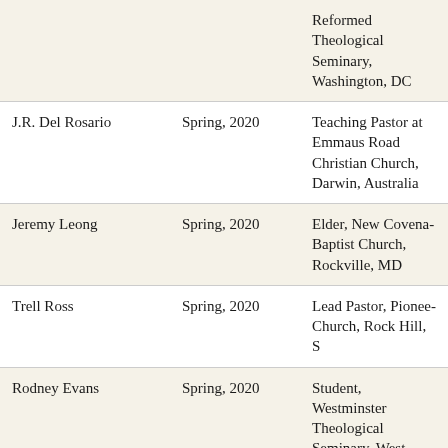| Name | Term | Position/Affiliation |
| --- | --- | --- |
|  |  | Reformed Theological Seminary, Washington, DC |
| J.R. Del Rosario | Spring, 2020 | Teaching Pastor at Emmaus Road Christian Church, Darwin, Australia |
| Jeremy Leong | Spring, 2020 | Elder, New Covenant Baptist Church, Rockville, MD |
| Trell Ross | Spring, 2020 | Lead Pastor, Pioneer Church, Rock Hill, S… |
| Rodney Evans | Spring, 2020 | Student, Westminster Theological Seminary, West… |